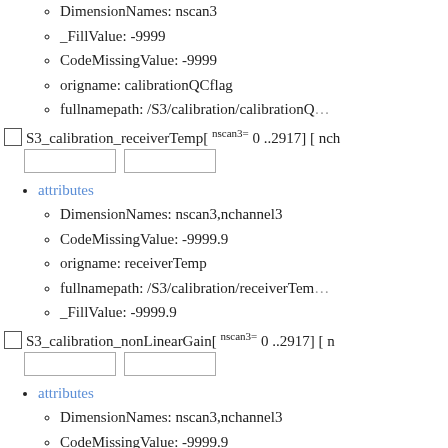DimensionNames: nscan3
_FillValue: -9999
CodeMissingValue: -9999
origname: calibrationQCflag
fullnamepath: /S3/calibration/calibrationQCflag
S3_calibration_receiverTemp[ nscan3= 0 ..2917] [ nch...
attributes
DimensionNames: nscan3,nchannel3
CodeMissingValue: -9999.9
origname: receiverTemp
fullnamepath: /S3/calibration/receiverTemp
_FillValue: -9999.9
S3_calibration_nonLinearGain[ nscan3= 0 ..2917] [ n...
attributes
DimensionNames: nscan3,nchannel3
CodeMissingValue: -9999.9
origname: nonLinearGain
fullnamepath: /S3/calibration/nonLinearGain
_FillValue: -9999.9